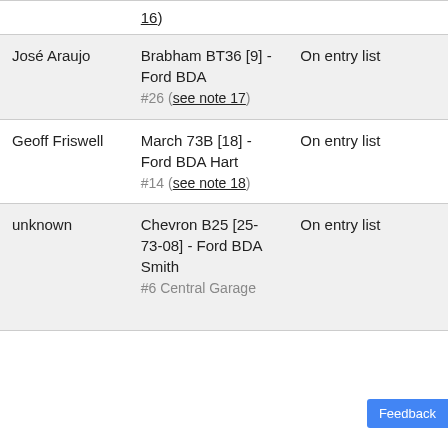| Driver | Car | Status |
| --- | --- | --- |
|  | 16) |  |
| José Araujo | Brabham BT36 [9] - Ford BDA
#26 (see note 17) | On entry list |
| Geoff Friswell | March 73B [18] - Ford BDA Hart
#14 (see note 18) | On entry list |
| unknown | Chevron B25 [25-73-08] - Ford BDA Smith
#6 Central Garage (see note... | On entry list |